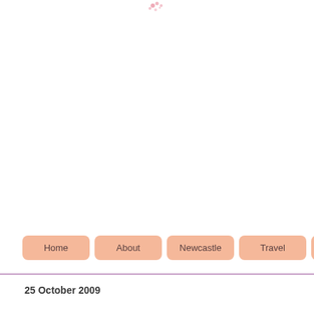[Figure (logo): Small pink decorative logo/icon made of dots at the top center of the page]
Home | About | Newcastle | Travel | Gaming
25 October 2009